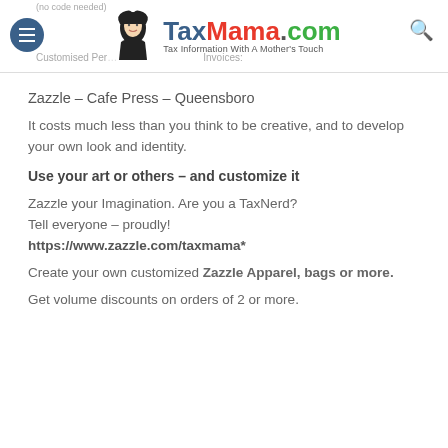(no code needed) | TaxMama.com – Tax Information With A Mother's Touch | Customised Per... Invoices:
Zazzle – Cafe Press – Queensboro
It costs much less than you think to be creative, and to develop your own look and identity.
Use your art or others – and customize it
Zazzle your Imagination. Are you a TaxNerd?
Tell everyone – proudly!
https://www.zazzle.com/taxmama*
Create your own customized Zazzle Apparel, bags or more.
Get volume discounts on orders of 2 or more.